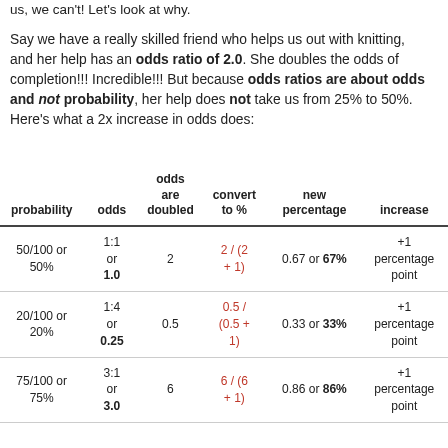us, we can't! Let's look at why.
Say we have a really skilled friend who helps us out with knitting, and her help has an odds ratio of 2.0. She doubles the odds of completion!!! Incredible!!! But because odds ratios are about odds and not probability, her help does not take us from 25% to 50%. Here's what a 2x increase in odds does:
| probability | odds | odds are doubled | convert to % | new percentage | increase |
| --- | --- | --- | --- | --- | --- |
| 50/100 or 50% | 1:1 or 1.0 | 2 | 2 / (2 + 1) | 0.67 or 67% | +1 percentage point |
| 20/100 or 20% | 1:4 or 0.25 | 0.5 | 0.5 / (0.5 + 1) | 0.33 or 33% | +1 percentage point |
| 75/100 or 75% | 3:1 or 3.0 | 6 | 6 / (6 + 1) | 0.86 or 86% | +1 percentage point |